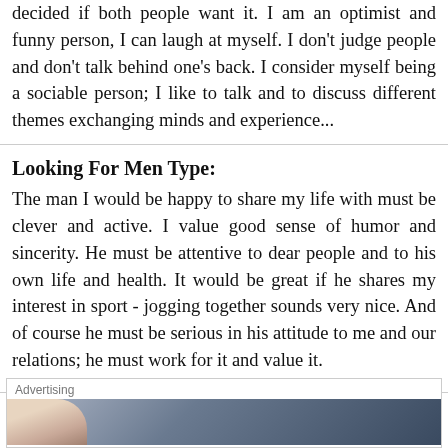decided if both people want it. I am an optimist and funny person, I can laugh at myself. I don't judge people and don't talk behind one's back. I consider myself being a sociable person; I like to talk and to discuss different themes exchanging minds and experience...
Looking For Men Type:
The man I would be happy to share my life with must be clever and active. I value good sense of humor and sincerity. He must be attentive to dear people and to his own life and health. It would be great if he shares my interest in sport - jogging together sounds very nice. And of course he must be serious in his attitude to me and our relations; he must work for it and value it.
[Figure (other): Advertising banner with label 'Advertising' and a photo of a woman against a dark background]